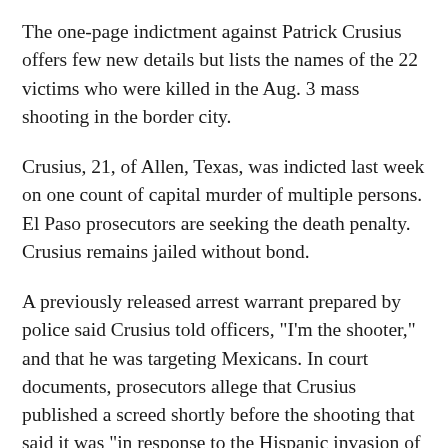The one-page indictment against Patrick Crusius offers few new details but lists the names of the 22 victims who were killed in the Aug. 3 mass shooting in the border city.
Crusius, 21, of Allen, Texas, was indicted last week on one count of capital murder of multiple persons. El Paso prosecutors are seeking the death penalty. Crusius remains jailed without bond.
A previously released arrest warrant prepared by police said Crusius told officers, "I'm the shooter," and that he was targeting Mexicans. In court documents, prosecutors allege that Crusius published a screed shortly before the shooting that said it was "in response to the Hispanic invasion of Texas."